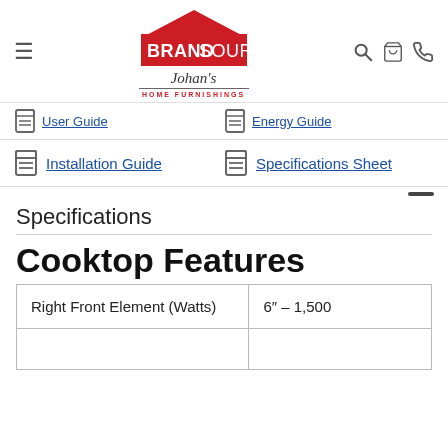[Figure (logo): BrandSource Johan's Home Furnishings logo with red house shape and signature script]
Installation Guide
Specifications Sheet
Specifications
Cooktop Features
| Right Front Element (Watts) | 6″ – 1,500 |